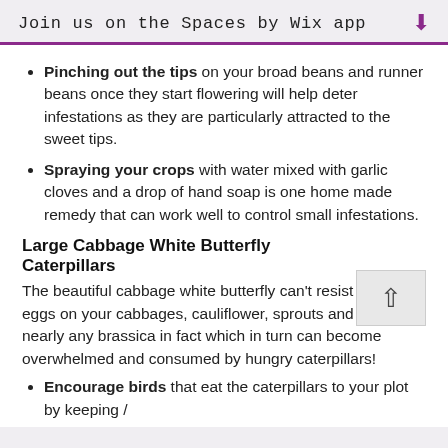Join us on the Spaces by Wix app
Pinching out the tips on your broad beans and runner beans once they start flowering will help deter infestations as they are particularly attracted to the sweet tips.
Spraying your crops with water mixed with garlic cloves and a drop of hand soap is one home made remedy that can work well to control small infestations.
Large Cabbage White Butterfly Caterpillars
The beautiful cabbage white butterfly can't resist laying its eggs on your cabbages, cauliflower, sprouts and broccoli, nearly any brassica in fact which in turn can become overwhelmed and consumed by hungry caterpillars!
Encourage birds that eat the caterpillars to your plot by keeping /